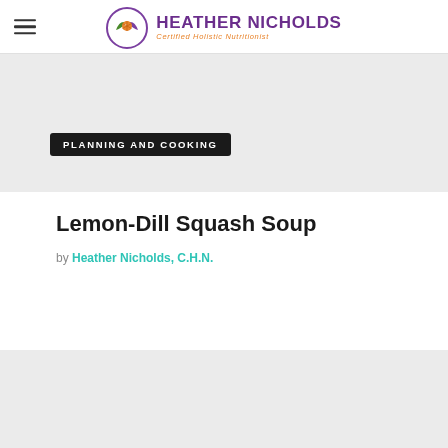HEATHER NICHOLDS Certified Holistic Nutritionist
[Figure (other): Gray hero banner with black badge reading PLANNING AND COOKING]
Lemon-Dill Squash Soup
by Heather Nicholds, C.H.N.
[Figure (other): Gray bottom banner area]